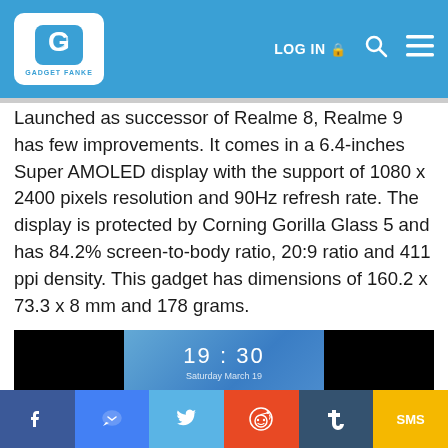GADGET FANKE | LOG IN | Search | Menu
Launched as successor of Realme 8, Realme 9 has few improvements. It comes in a 6.4-inches Super AMOLED display with the support of 1080 x 2400 pixels resolution and 90Hz refresh rate. The display is protected by Corning Gorilla Glass 5 and has 84.2% screen-to-body ratio, 20:9 ratio and 411 ppi density. This gadget has dimensions of 160.2 x 73.3 x 8 mm and 178 grams.
[Figure (photo): Realme 9 smartphone showing the front display with time 19:30 and date Saturday March 19 on a black background]
Facebook | Messenger | Twitter | Reddit | Tumblr | SMS social sharing buttons